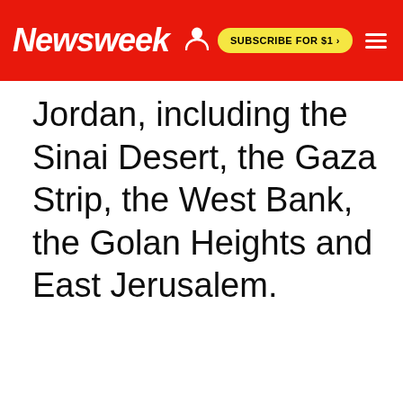Newsweek | SUBSCRIBE FOR $1 >
Jordan, including the Sinai Desert, the Gaza Strip, the West Bank, the Golan Heights and East Jerusalem.